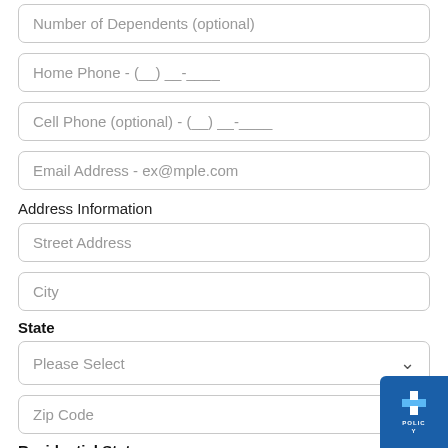Number of Dependents (optional)
Home Phone - (__) __-____
Cell Phone (optional) - (__) __-____
Email Address - ex@mple.com
Address Information
Street Address
City
State
Please Select
Zip Code
Residential Status